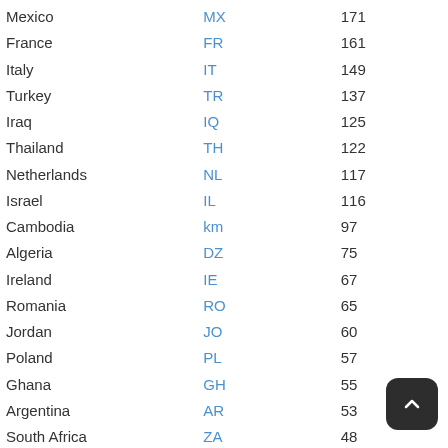| Country | Code | Value |
| --- | --- | --- |
| Mexico | MX | 171 |
| France | FR | 161 |
| Italy | IT | 149 |
| Turkey | TR | 137 |
| Iraq | IQ | 125 |
| Thailand | TH | 122 |
| Netherlands | NL | 117 |
| Israel | IL | 116 |
| Cambodia | km | 97 |
| Algeria | DZ | 75 |
| Ireland | IE | 67 |
| Romania | RO | 65 |
| Jordan | JO | 60 |
| Poland | PL | 57 |
| Ghana | GH | 55 |
| Argentina | AR | 53 |
| South Africa | ZA | 48 |